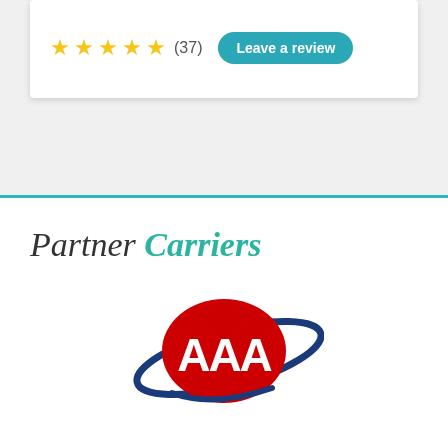[Figure (other): Star rating showing 4.5 stars out of 5 with (37) reviews and a 'Leave a review' teal button]
Partner Carriers
[Figure (logo): AAA insurance logo - red oval with AAA letters and blue orbital ring]
COMPANY